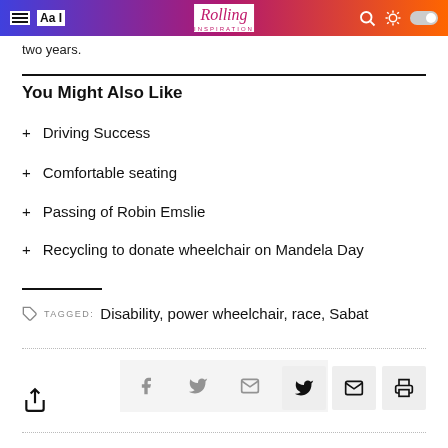Rolling Inspiration
two years.
You Might Also Like
+ Driving Success
+ Comfortable seating
+ Passing of Robin Emslie
+ Recycling to donate wheelchair on Mandela Day
TAGGED: Disability, power wheelchair, race, Sabat